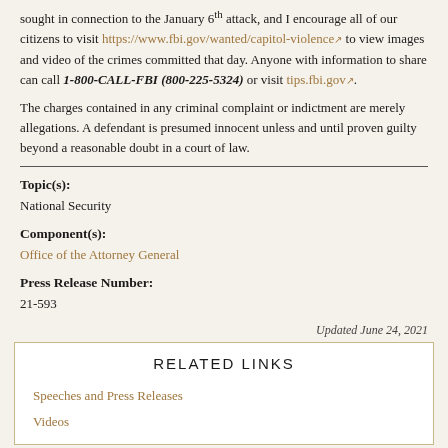sought in connection to the January 6th attack, and I encourage all of our citizens to visit https://www.fbi.gov/wanted/capitol-violence to view images and video of the crimes committed that day. Anyone with information to share can call 1-800-CALL-FBI (800-225-5324) or visit tips.fbi.gov.
The charges contained in any criminal complaint or indictment are merely allegations. A defendant is presumed innocent unless and until proven guilty beyond a reasonable doubt in a court of law.
Topic(s):
National Security
Component(s):
Office of the Attorney General
Press Release Number:
21-593
Updated June 24, 2021
RELATED LINKS
Speeches and Press Releases
Videos